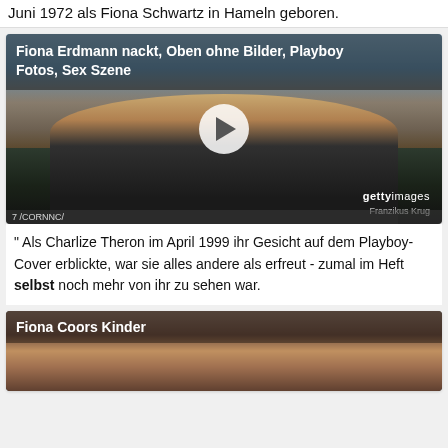Juni 1972 als Fiona Schwartz in Hameln geboren.
[Figure (photo): Video thumbnail showing a woman with blonde hair sitting in a black chair, wearing a black striped jacket and jeans. Getty Images watermark visible. Overlay title: 'Fiona Erdmann nackt, Oben ohne Bilder, Playboy Fotos, Sex Szene'. Play button in center.]
" Als Charlize Theron im April 1999 ihr Gesicht auf dem Playboy-Cover erblickte, war sie alles andere als erfreut - zumal im Heft selbst noch mehr von ihr zu sehen war.
[Figure (photo): Photo thumbnail of a woman with blonde/brown hair, partial face visible, card title reads 'Fiona Coors Kinder'.]